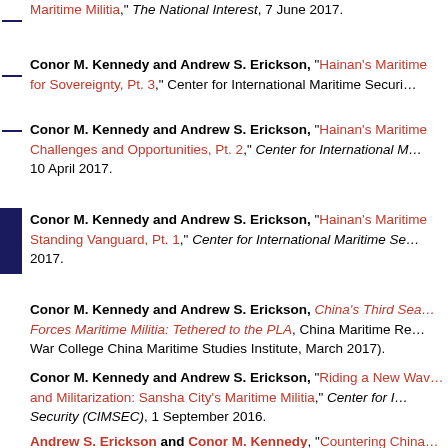Maritime Militia," The National Interest, 7 June 2017.
Conor M. Kennedy and Andrew S. Erickson, "Hainan's Maritime for Sovereignty, Pt. 3," Center for International Maritime Securi...
Conor M. Kennedy and Andrew S. Erickson, "Hainan's Maritime Challenges and Opportunities, Pt. 2," Center for International M... 10 April 2017.
Conor M. Kennedy and Andrew S. Erickson, "Hainan's Maritime Standing Vanguard, Pt. 1," Center for International Maritime Se... 2017.
Conor M. Kennedy and Andrew S. Erickson, China's Third Sea Forces Maritime Militia: Tethered to the PLA, China Maritime Re... War College China Maritime Studies Institute, March 2017).
Conor M. Kennedy and Andrew S. Erickson, "Riding a New Wav and Militarization: Sansha City's Maritime Militia," Center for I... Security (CIMSEC), 1 September 2016.
Andrew S. Erickson and Conor M. Kennedy, "Countering China...